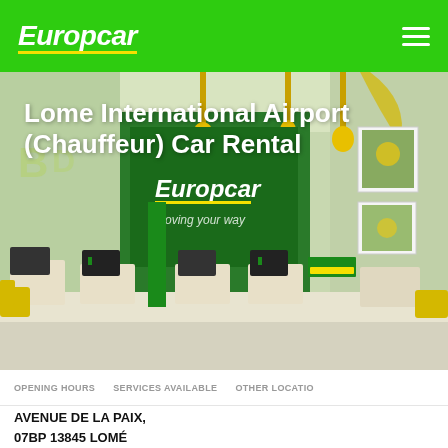Europcar
[Figure (photo): Interior of a Europcar car rental branch showing green-themed service counters, monitors, and Europcar branding with 'moving your way' tagline on the wall. The image includes decorative letters A through G hanging from the ceiling.]
Lome International Airport (Chauffeur) Car Rental
OPENING HOURS   SERVICES AVAILABLE   OTHER LOCATIONS
AVENUE DE LA PAIX, 07BP 13845 LOMÉ TOGO